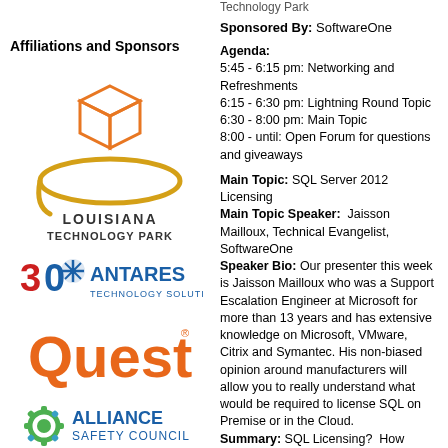Affiliations and Sponsors
[Figure (logo): Louisiana Technology Park logo - orange cube with golden orbit ring, text LOUISIANA TECHNOLOGY PARK]
[Figure (logo): 30 Antares Technology Solutions logo - blue and red text with snowflake icon]
[Figure (logo): Quest logo - orange text]
[Figure (logo): Alliance Safety Council logo - green/teal gear icon with blue text]
[Figure (logo): sparkhound logo - dark blue and green text]
Technology Park
Sponsored By: SoftwareOne
Agenda:
5:45 - 6:15 pm: Networking and Refreshments
6:15 - 6:30 pm: Lightning Round Topic
6:30 - 8:00 pm: Main Topic
8:00 - until: Open Forum for questions and giveaways
Main Topic: SQL Server 2012 Licensing
Main Topic Speaker: Jaisson Mailloux, Technical Evangelist, SoftwareOne
Speaker Bio: Our presenter this week is Jaisson Mailloux who was a Support Escalation Engineer at Microsoft for more than 13 years and has extensive knowledge on Microsoft, VMware, Citrix and Symantec. His non-biased opinion around manufacturers will allow you to really understand what would be required to license SQL on Premise or in the Cloud.
Summary: SQL Licensing? How
being... What if establishing that...